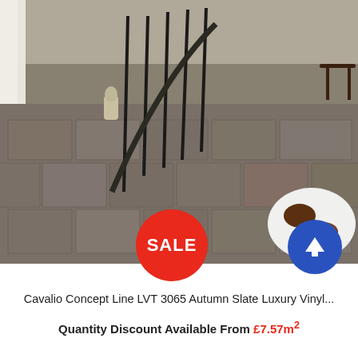[Figure (photo): Interior room photo showing stone-effect LVT flooring in an autumn slate colour, with a curved staircase with marble steps and black iron balustrades, a cowhide rug, and a model airplane in the background. A red SALE badge and blue arrow badge overlay the image.]
Cavalio Concept Line LVT 3065 Autumn Slate Luxury Vinyl...
Quantity Discount Available From £7.57m²